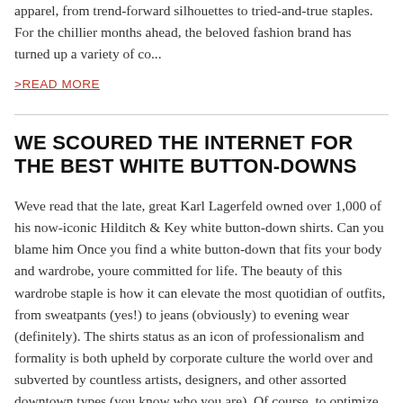apparel, from trend-forward silhouettes to tried-and-true staples. For the chillier months ahead, the beloved fashion brand has turned up a variety of co...
>READ MORE
WE SCOURED THE INTERNET FOR THE BEST WHITE BUTTON-DOWNS
Weve read that the late, great Karl Lagerfeld owned over 1,000 of his now-iconic Hilditch & Key white button-down shirts. Can you blame him Once you find a white button-down that fits your body and wardrobe, youre committed for life. The beauty of this wardrobe staple is how it can elevate the most quotidian of outfits, from sweatpants (yes!) to jeans (obviously) to evening wear (definitely). The shirts status as an icon of professionalism and formality is both upheld by corporate culture the world over and subverted by countless artists, designers, and other assorted downtown types (you know who you are). Of course, to optimize this wardrobe staple for every possible